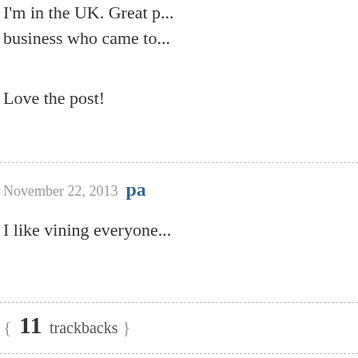I'm in the UK. Great p... business who came to...
Love the post!
November 22, 2013  pa...
I like vining everyone...
{ 11 trackbacks }
Tweets that mention 3...
Very Official Blog -- T...
3 Ways to Get Great C...
Tweets that mention 3...
Very Official Blog -- T...
Content for your blog...